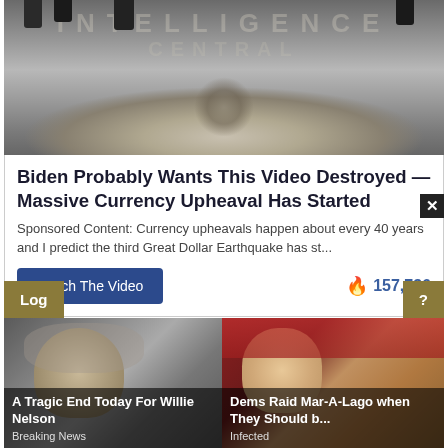[Figure (photo): CIA headquarters lobby floor with eagle emblem, people's feet visible at top]
Biden Probably Wants This Video Destroyed — Massive Currency Upheaval Has Started
Sponsored Content: Currency upheavals happen about every 40 years and I predict the third Great Dollar Earthquake has st…
Watch The Video   🔥 157,736
Sponsored Ad
Email  MeWe  PARLER  Tweet  Share  8  💬1
To comment on this or any other American Thinker article or blog, you must be a subscriber to our ad-free service. Login to the comments section. $6.79 a month or
[Figure (photo): A Tragic End Today For Willie Nelson - Breaking News]
[Figure (photo): Dems Raid Mar-A-Lago when They Should b... - Infected]